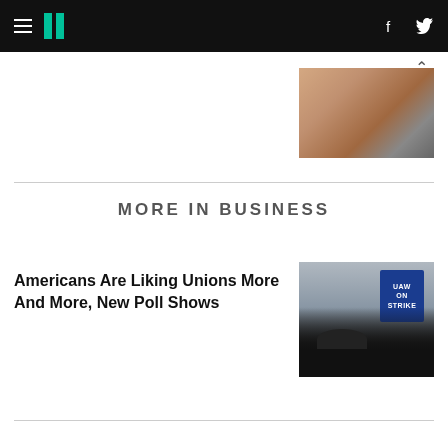HuffPost navigation header with hamburger menu, logo, Facebook and Twitter icons
[Figure (photo): Partial view of a thumbnail photo at top of page, partially visible]
MORE IN BUSINESS
Americans Are Liking Unions More And More, New Poll Shows
[Figure (photo): Photo of UAW On Strike protest sign being held up by workers]